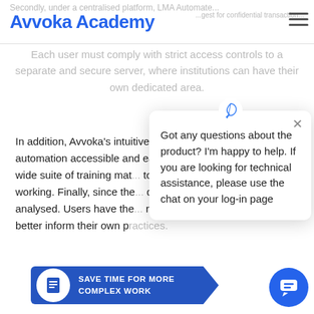Avvoka Academy
Secondly, under a centralised platform, LMA Automate ... best for confidential transactions.
Each user must comply with strict access controls to a separate and secure server, where institutions can have their own dedicated area.
In addition, Avvoka's intuitive user interface makes automation accessible and easy-to-use. Supported with a wide suite of training mat... tool and integrate it with t... working. Finally, since the ... document lifecycle, the da... analysed. Users have the ... regulatory changes to the ... to better inform their own practices.
[Figure (screenshot): Chat popup overlay with feather pen icon at top, close X button, and message: 'Got any questions about the product? I'm happy to help. If you are looking for technical assistance, please use the chat on your log-in page']
[Figure (infographic): Blue CTA button with document icon: 'SAVE TIME FOR MORE COMPLEX WORK']
[Figure (infographic): Blue circular chat bubble button in bottom right corner]